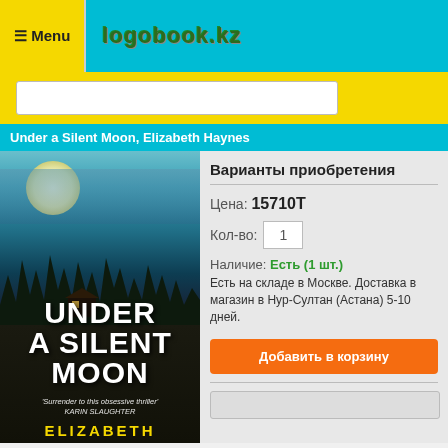≡ Menu  logobook.kz
Under a Silent Moon, Elizabeth Haynes
[Figure (photo): Book cover of 'Under a Silent Moon' by Elizabeth Haynes, showing a moonlit night scene with a house, trees silhouette, and white bold title text. Quote: 'Surrender to this obsessive thriller' - Karin Slaughter. Author name 'ELIZABETH' shown at bottom in yellow.]
Варианты приобретения
Цена: 15710Т
Кол-во: 1
Наличие: Есть (1 шт.)
Есть на складе в Москве. Доставка в магазин в Нур-Султан (Астана) 5-10 дней.
Добавить в корзину